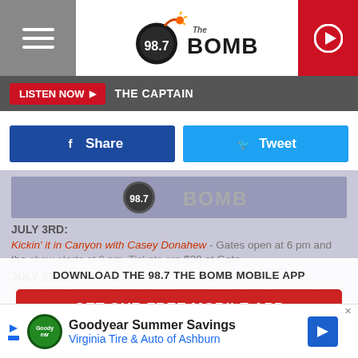[Figure (logo): 98.7 The Bomb radio station logo with bomb icon]
LISTEN NOW ▶  THE CAPTAIN
[Figure (screenshot): Facebook Share button and Twitter Tweet button]
JULY 3RD:
Kickin' it in Canyon with Casey Donahew - Gates open at 6 pm and the show starts at 9 pm. Tickets are $20 at Gate
[Figure (infographic): Download the 98.7 The Bomb Mobile App overlay with GET OUR FREE MOBILE APP button]
JULY 4TH:
Lions Club Pancake Breakfast - 7-10 am, Fair on the Square - 9 am-3 pm, 4th Avenue Firecracker Mile - 9:30 am, Independence Day Parade - 10 am
[Figure (infographic): Also listen on: Amazon Alexa overlay]
Tangl
[Figure (infographic): Goodyear Summer Savings - Virginia Tire & Auto of Ashburn advertisement banner]